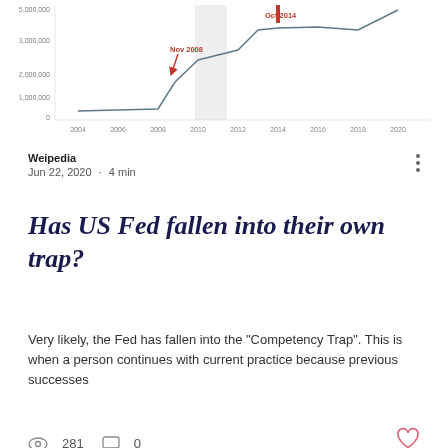[Figure (line-chart): Federal Reserve Balance Sheet]
Weipedia
Jun 22, 2020  ·  4 min
Has US Fed fallen into their own trap?
Very likely, the Fed has fallen into the "Competency Trap". This is when a person continues with current practice because previous successes
281 views  0 comments
[Figure (photo): Dark photo of Lincoln Memorial inscription reading: IN THIS TEMPLE AS IN THE HEARTS OF THE PEOPLE FOR WHOM HE SAVED THE UNION THE MEMORY OF ABRAHAM LINCOLN IS ENSHRINED FOREVER.]